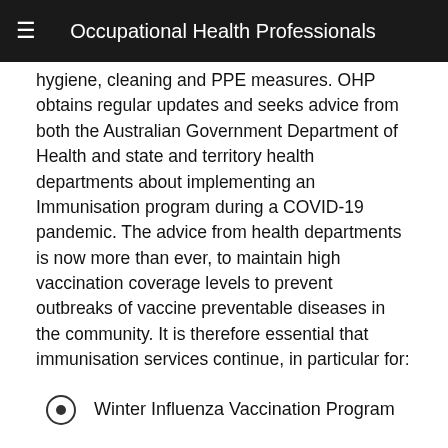Occupational Health Professionals
hygiene, cleaning and PPE measures. OHP obtains regular updates and seeks advice from both the Australian Government Department of Health and state and territory health departments about implementing an Immunisation program during a COVID-19 pandemic. The advice from health departments is now more than ever, to maintain high vaccination coverage levels to prevent outbreaks of vaccine preventable diseases in the community. It is therefore essential that immunisation services continue, in particular for:
Winter Influenza Vaccination Program
Our program accepts the recommendations and advice provided by the applicable state and territory health department, therefore our program will be enhanced to